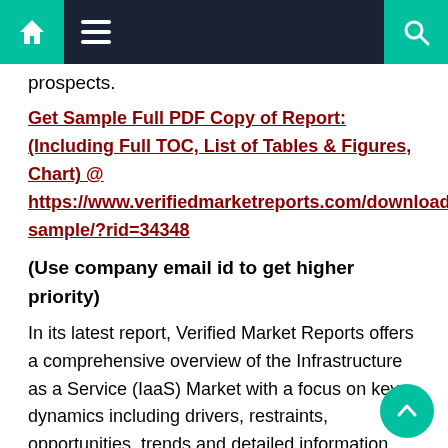Navigation bar with home icon, menu icon, and search icon
prospects.
Get Sample Full PDF Copy of Report: (Including Full TOC, List of Tables & Figures, Chart) @ https://www.verifiedmarketreports.com/download-sample/?rid=34348
(Use company email id to get higher priority)
In its latest report, Verified Market Reports offers a comprehensive overview of the Infrastructure as a Service (IaaS) Market with a focus on key dynamics including drivers, restraints, opportunities, trends and detailed information about infrastructure as a service